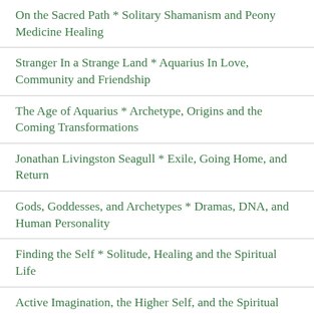On the Sacred Path * Solitary Shamanism and Peony Medicine Healing
Stranger In a Strange Land * Aquarius In Love, Community and Friendship
The Age of Aquarius * Archetype, Origins and the Coming Transformations
Jonathan Livingston Seagull * Exile, Going Home, and Return
Gods, Goddesses, and Archetypes * Dramas, DNA, and Human Personality
Finding the Self * Solitude, Healing and the Spiritual Life
Active Imagination, the Higher Self, and the Spiritual Life